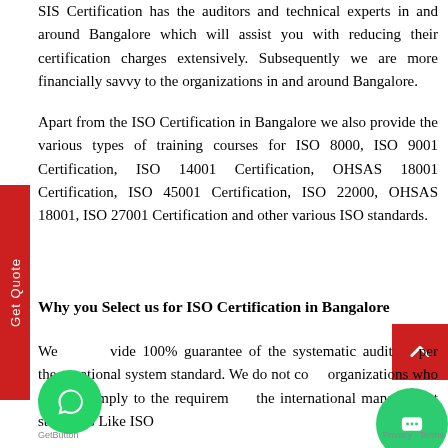SIS Certification has the auditors and technical experts in and around Bangalore which will assist you with reducing their certification charges extensively. Subsequently we are more financially savvy to the organizations in and around Bangalore.
Apart from the ISO Certification in Bangalore we also provide the various types of training courses for ISO 8000, ISO 9001 Certification, ISO 14001 Certification, OHSAS 18001 Certification, ISO 45001 Certification, ISO 22000, OHSAS 18001, ISO 27001 Certification and other various ISO standards.
Why you Select us for ISO Certification in Bangalore
We provide 100% guarantee of the systematic audit as per the international system standard. We do not certify organizations who do not comply to the requirements of the international management standards Like ISO